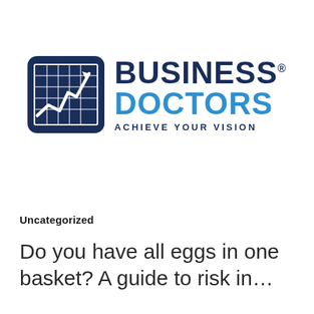[Figure (logo): Business Doctors logo: dark navy square icon with grid and upward trending line chart in white, beside bold text 'BUSINESS DOCTORS' with tagline 'ACHIEVE YOUR VISION']
Uncategorized
Do you have all eggs in one basket? A guide to risk in…